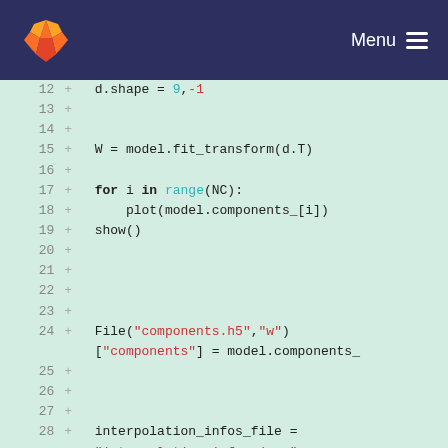[Figure (screenshot): GitLab navigation header with orange fox logo on left and Menu with hamburger icon on right, dark navy background]
Code diff view showing lines 12-29 with additions (+) in a green-tinted background. Lines: 12: + d.shape = 9,-1 | 13: + | 14: + | 15: + W = model.fit_transform(d.T) | 16: + | 17: + for i in range(NC): | 18: +     plot(model.components_[i]) | 19: + show() | 20: + | 21: + | 22: + | 23: + | 24: + File("components.h5","w")["components"] = model.components_ | 25: + | 26: + | 27: + | 28: + interpolation_infos_file = "interpolation_infos.json" | 29: +